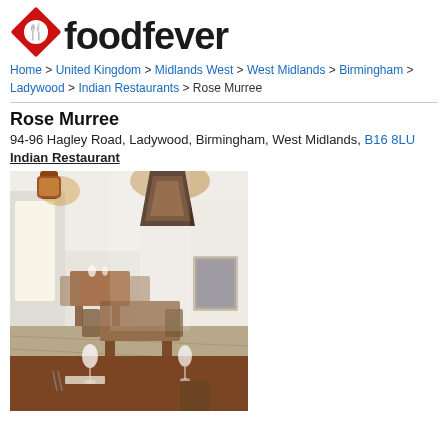[Figure (logo): Foodfever logo: red diamond shape with fork/spoon icon, next to bold black text 'foodfever']
Home > United Kingdom > Midlands West > West Midlands > Birmingham > Ladywood > Indian Restaurants > Rose Murree
Rose Murree
94-96 Hagley Road, Ladywood, Birmingham, West Midlands, B16 8LU
Indian Restaurant
[Figure (photo): Interior photo of Rose Murree Indian Restaurant: bright dining room with wooden tables and chairs, ornate Moroccan-style hanging lanterns, wooden flooring, artwork on walls, table settings with glasses and napkins]